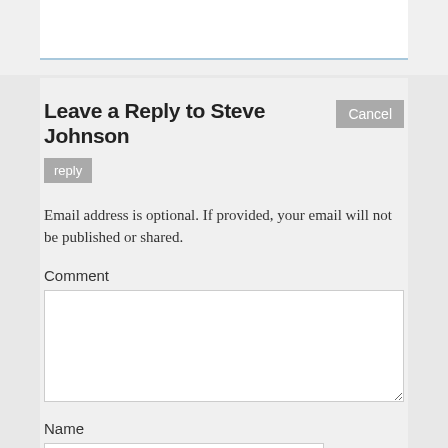Leave a Reply to Steve Johnson
Email address is optional. If provided, your email will not be published or shared.
Comment
Name
Email